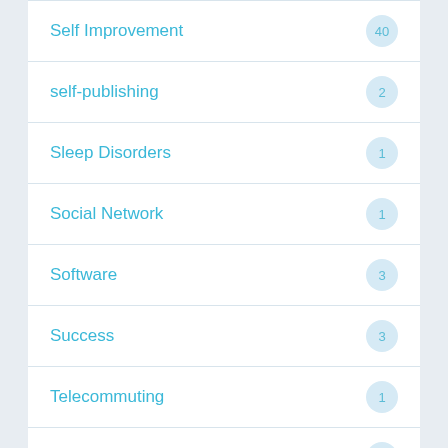Self Improvement — 40
self-publishing — 2
Sleep Disorders — 1
Social Network — 1
Software — 3
Success — 3
Telecommuting — 1
Wireless Technology — 1